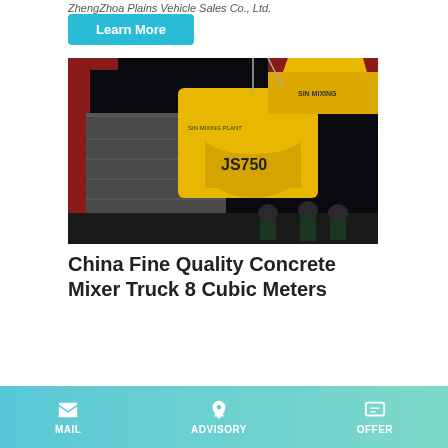ZhengZhoa Plains Vehicle Sales Co., Ltd.
Learn More
[Figure (photo): Yellow concrete mixer machine (JS750) being loaded into a shipping container at night, workers visible below]
China Fine Quality Concrete Mixer Truck 8 Cubic Meters
MAIL  ADVISORY  OFFER